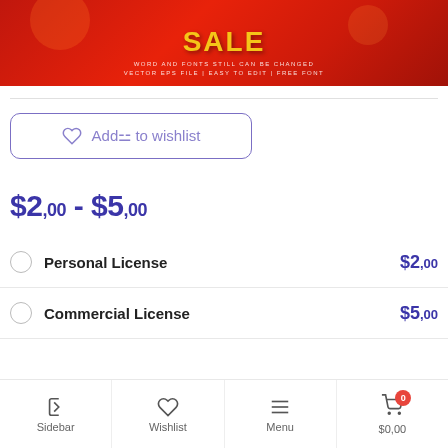[Figure (illustration): Red gradient banner with decorative circles and gold/yellow sale text. Subtext reads 'WORD AND FONTS STILL CAN BE CHANGED / VECTOR EPS FILE | EASY TO EDIT | FREE FONT']
Add to wishlist
$2,00 - $5,00
Personal License $2,00
Commercial License $5,00
Sidebar | Wishlist | Menu | $0,00